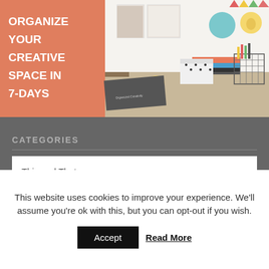[Figure (photo): Banner image showing an organized creative desk space with books, notebooks, stationery, and wall art. Left side has a salmon/coral background with bold white text reading ORGANIZE YOUR CREATIVE SPACE IN 7-DAYS]
CATEGORIES
This and That
ARCHIVES
This website uses cookies to improve your experience. We'll assume you're ok with this, but you can opt-out if you wish.
Accept
Read More